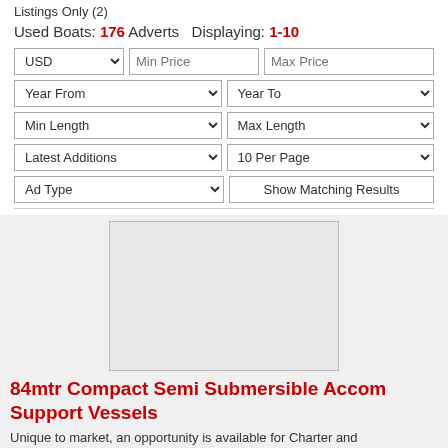Listings Only (2)
Used Boats: 176 Adverts  Displaying: 1-10
[Figure (screenshot): Filter form UI with dropdowns for USD currency, Min Price, Max Price, Year From, Year To, Min Length, Max Length, Latest Additions, 10 Per Page, Ad Type, and a Show Matching Results button]
[Figure (photo): Boat listing image placeholder (blank/loading image)]
84mtr Compact Semi Submersible Accom Support Vessels
Unique to market, an opportunity is available for Charter and